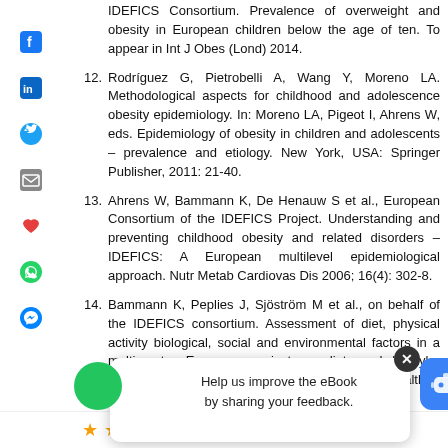IDEFICS Consortium. Prevalence of overweight and obesity in European children below the age of ten. To appear in Int J Obes (Lond) 2014.
12. Rodríguez G, Pietrobelli A, Wang Y, Moreno LA. Methodological aspects for childhood and adolescence obesity epidemiology. In: Moreno LA, Pigeot I, Ahrens W, eds. Epidemiology of obesity in children and adolescents – prevalence and etiology. New York, USA: Springer Publisher, 2011: 21-40.
13. Ahrens W, Bammann K, De Henauw S et al., European Consortium of the IDEFICS Project. Understanding and preventing childhood obesity and related disorders – IDEFICS: A European multilevel epidemiological approach. Nutr Metab Cardiovas Dis 2006; 16(4): 302-8.
14. Bammann K, Peplies J, Sjöström M et al., on behalf of the IDEFICS consortium. Assessment of diet, physical activity biological, social and environmental factors in a multi-centre European project on diet- and lifestyle-related disorders in children (IDEFICS). J Public Health
[Figure (infographic): Tooltip overlay with chatbot icon saying 'Help us improve the eBook by sharing your feedback.' with an X close button and a blue bot icon.]
[Figure (infographic): Bottom bar with 4 filled stars and 1 empty star, an info icon, and a green 'Rate this article (10 Votes)' button.]